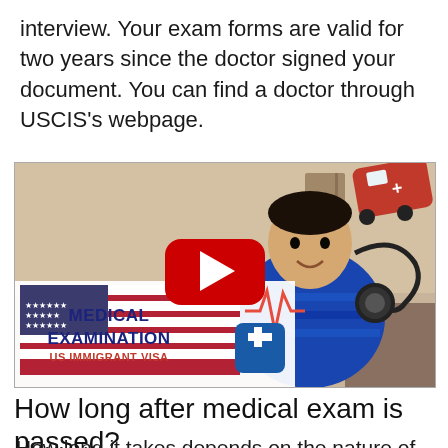interview. Your exam forms are valid for two years since the doctor signed your document. You can find a doctor through USCIS's webpage.
[Figure (screenshot): YouTube video thumbnail showing a man in a blue striped shirt with medical examination graphics, American flag, YouTube play button, and text reading 'MEDICAL EXAMINATION US IMMIGRANT VISA']
How long after medical exam is passed?
How long it takes depends on the nature of